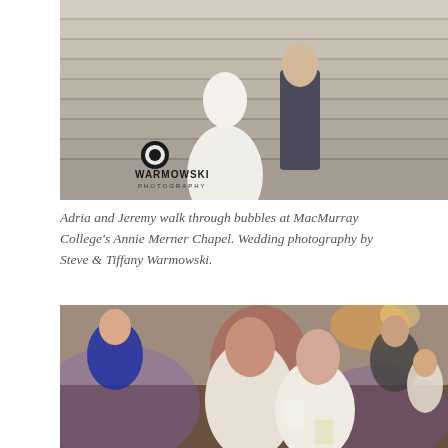[Figure (photo): Wedding photo of bride and groom walking down stone steps through bubbles at MacMurray College's Annie Merner Chapel. Watermark reads 'Warmowski Photography' with logo.]
Adria and Jeremy walk through bubbles at MacMurray College's Annie Merner Chapel. Wedding photography by Steve & Tiffany Warmowski.
[Figure (photo): Wedding reception photo of bride and groom dancing together while holding cups, surrounded by guests and colored lighting.]